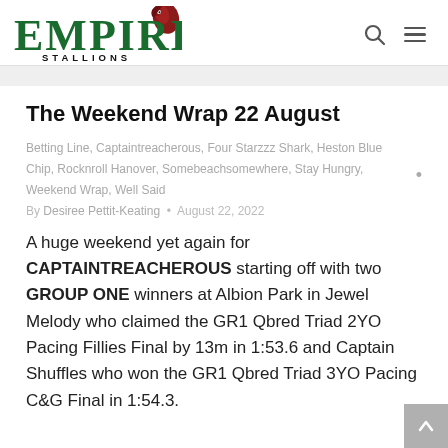[Figure (logo): Empire Stallions logo with green bold text and red horse head illustration, with STALLIONS subtitle in black]
Empire Stallions website header with search and menu icons
The Weekend Wrap 22 August
Betting Line, Captaintreacherous, Four Starzzz Shark, Heston Blue Chip, Rocknroll Hanover, Somebeachsomewhere, Stay Hungry, Weekend Wrap, Well Said
By Desiree Pettit-Keating • August 22, 2022
A huge weekend yet again for CAPTAINTREACHEROUS starting off with two GROUP ONE winners at Albion Park in Jewel Melody who claimed the GR1 Qbred Triad 2YO Pacing Fillies Final by 13m in 1:53.6 and Captain Shuffles who won the GR1 Qbred Triad 3YO Pacing C&G Final in 1:54.3.